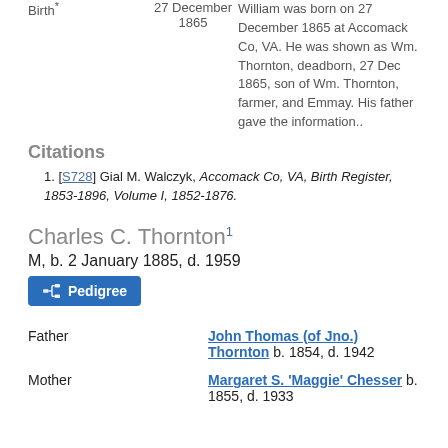Birth  27 December 1865  William was born on 27 December 1865 at Accomack Co, VA. He was shown as Wm. Thornton, deadborn, 27 Dec 1865, son of Wm. Thornton, farmer, and Emmay. His father gave the information..
Citations
[S728] Gial M. Walczyk, Accomack Co, VA, Birth Register, 1853-1896, Volume I, 1852-1876.
Charles C. Thornton
M, b. 2 January 1885, d. 1959
| Relation | Person |
| --- | --- |
| Father | John Thomas (of Jno.) Thornton b. 1854, d. 1942 |
| Mother | Margaret S. 'Maggie' Chesser b. 1855, d. 1933 |